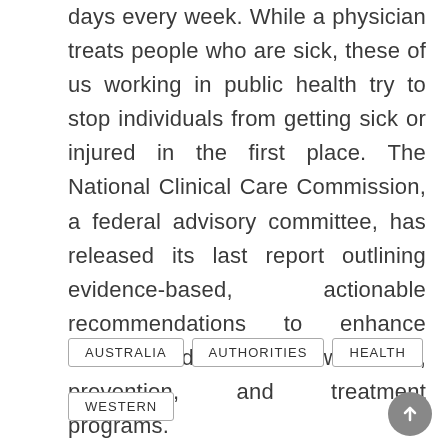days every week. While a physician treats people who are sick, these of us working in public health try to stop individuals from getting sick or injured in the first place. The National Clinical Care Commission, a federal advisory committee, has released its last report outlining evidence-based, actionable recommendations to enhance federal diabetes awareness, prevention, and treatment programs.
AUSTRALIA
AUTHORITIES
HEALTH
WESTERN